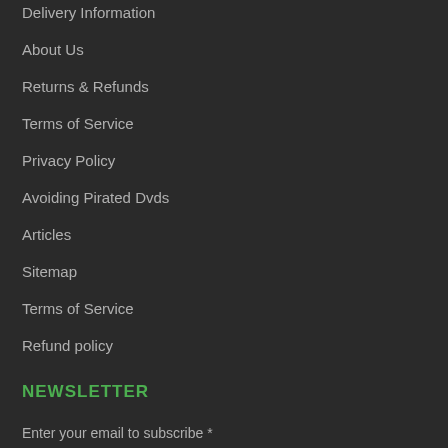Delivery Information
About Us
Returns & Refunds
Terms of Service
Privacy Policy
Avoiding Pirated Dvds
Articles
Sitemap
Terms of Service
Refund policy
NEWSLETTER
Enter your email to subscribe *
Sign up to our newsletter to keep up to date with the latest deals & offers